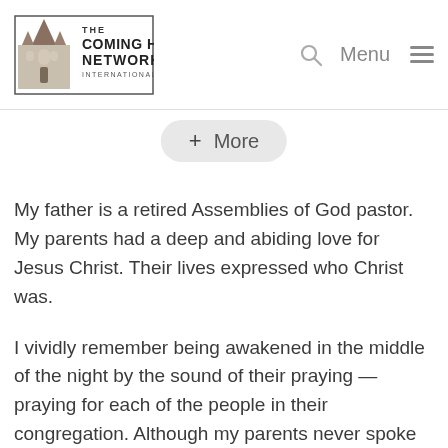The Coming Home Network International — Menu
+ More
My father is a retired Assemblies of God pastor. My parents had a deep and abiding love for Jesus Christ. Their lives expressed who Christ was.
I vividly remember being awakened in the middle of the night by the sound of their praying — praying for each of the people in their congregation. Although my parents never spoke in derogatory terms about anyone, including Catholics, many of the